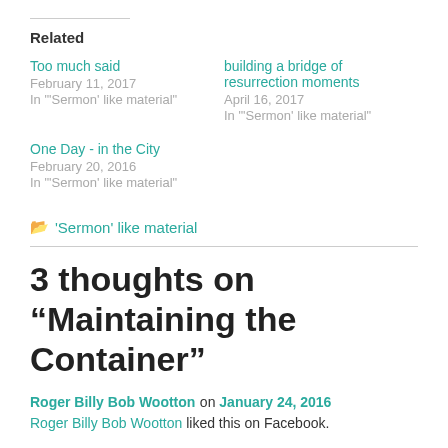Related
Too much said
February 11, 2017
In "'Sermon' like material"
building a bridge of resurrection moments
April 16, 2017
In "'Sermon' like material"
One Day - in the City
February 20, 2016
In "'Sermon' like material"
'Sermon' like material
3 thoughts on “Maintaining the Container”
Roger Billy Bob Wootton on January 24, 2016
Roger Billy Bob Wootton liked this on Facebook.